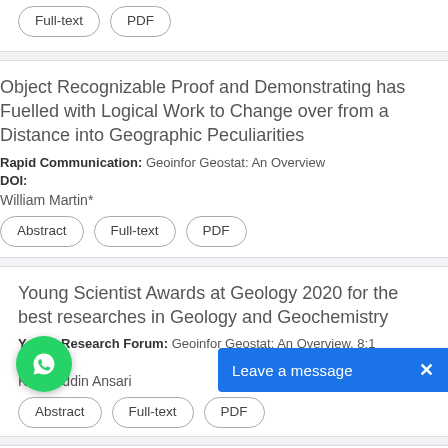Full-text | PDF (buttons, top partial card)
Object Recognizable Proof and Demonstrating has Fuelled with Logical Work to Change over from a Distance into Geographic Peculiarities
Rapid Communication: Geoinfor Geostat: An Overview
DOI:
William Martin*
Abstract | Full-text | PDF
Young Scientist Awards at Geology 2020 for the best researches in Geology and Geochemistry
Young Research Forum: Geoinfor Geostat: An Overview, 8:1
DOI:
Kutubuddin Ansari
Abstract | Full-text | PDF
tion of Components of Sieroszowice Mine Copper Ore Deposit Variogr
[Figure (other): WhatsApp chat bubble icon (green circle with phone handset)]
Leave a message  X